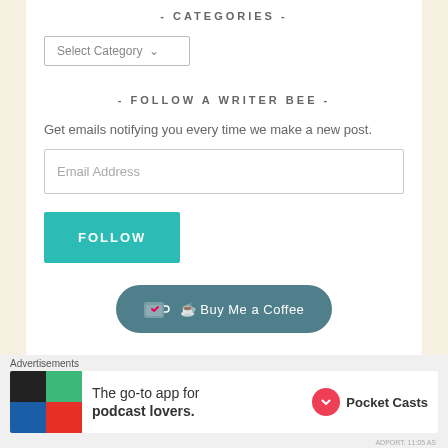- CATEGORIES -
[Figure (screenshot): Dropdown selector with label 'Select Category' and a chevron arrow]
- FOLLOW A WRITER BEE -
Get emails notifying you every time we make a new post.
[Figure (screenshot): Email address input field with placeholder 'Email Address']
[Figure (screenshot): Teal FOLLOW button]
[Figure (screenshot): Buy Me a Coffee button in teal/dark teal rounded pill style]
Advertisements
[Figure (screenshot): Advertisement for Pocket Casts: 'The go-to app for podcast lovers.' with Pocket Casts logo]